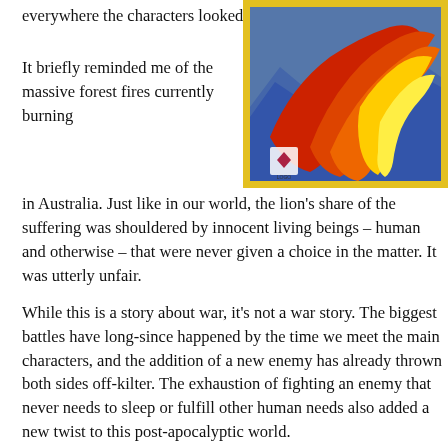everywhere the characters looked.
[Figure (illustration): A vivid illustration with swirling red, orange, and yellow flame-like shapes against a blue background, with a yellow border and a small diamond-shaped logo in the lower left.]
It briefly reminded me of the massive forest fires currently burning in Australia. Just like in our world, the lion's share of the suffering was shouldered by innocent living beings – human and otherwise – that were never given a choice in the matter. It was utterly unfair.
While this is a story about war, it's not a war story. The biggest battles have long-since happened by the time we meet the main characters, and the addition of a new enemy has already thrown both sides off-kilter. The exhaustion of fighting an enemy that never needs to sleep or fulfill other human needs also added a new twist to this post-apocalyptic world.
There were actually times when I felt a little sorry for the robots. Yes, they were attacking humans...but they weren't the ones responsible for causing such severe environmental damage that Europe and vast swaths of